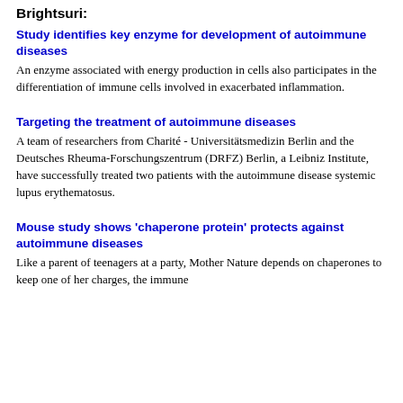Brightsuri:
Study identifies key enzyme for development of autoimmune diseases
An enzyme associated with energy production in cells also participates in the differentiation of immune cells involved in exacerbated inflammation.
Targeting the treatment of autoimmune diseases
A team of researchers from Charité - Universitätsmedizin Berlin and the Deutsches Rheuma-Forschungszentrum (DRFZ) Berlin, a Leibniz Institute, have successfully treated two patients with the autoimmune disease systemic lupus erythematosus.
Mouse study shows 'chaperone protein' protects against autoimmune diseases
Like a parent of teenagers at a party, Mother Nature depends on chaperones to keep one of her charges, the immune